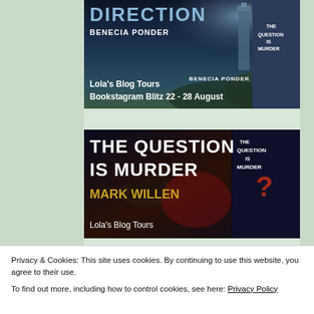[Figure (illustration): Book tour banner for 'Direction' by Benecia Ponder. Dark blue lighthouse background. Text: 'DIRECTION', 'BENECIA PONDER', 'Lola's Blog Tours', 'Bookstagram Blitz 22 - 28 August'. Book spine visible on right with 'BENECIA PONDER' text.]
[Figure (illustration): Book tour banner for 'The Question Is Murder' by Mark Willen. Dark background with Capitol building imagery. Text: 'THE QUESTION IS MURDER', 'MARK WILLEN' in gold, 'Lola's Blog Tours'. Book spine on right showing 'THE QUESTION IS MURDER'.]
Privacy & Cookies: This site uses cookies. By continuing to use this website, you agree to their use.
To find out more, including how to control cookies, see here: Privacy Policy
[Figure (illustration): Partial bottom banner showing 'Lola's Blog Tours' on left and 'PETS IN SPACE' on right, purple/blue background.]